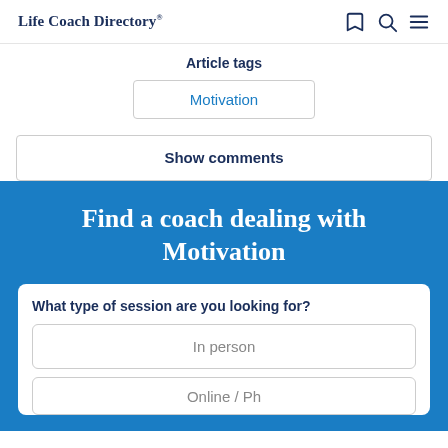Life Coach Directory®
Article tags
Motivation
Show comments
Find a coach dealing with Motivation
What type of session are you looking for?
In person
Online / Ph...